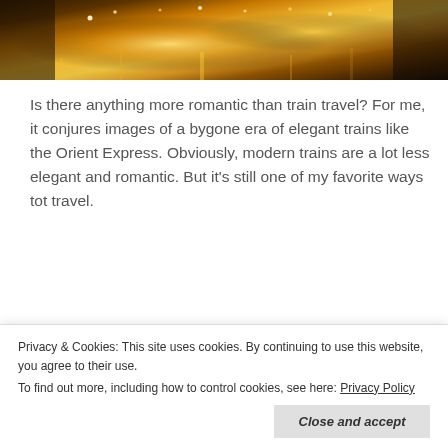[Figure (photo): Night cityscape with golden warm lights reflecting on wet pavement, Christmas or festive lighting visible, very warm amber/gold tones]
Is there anything more romantic than train travel? For me, it conjures images of a bygone era of elegant trains like the Orient Express. Obviously, modern trains are a lot less elegant and romantic. But it's still one of my favorite ways tot travel.
Interrail is a great way to discover Europe by train!
Privacy & Cookies: This site uses cookies. By continuing to use this website, you agree to their use.
To find out more, including how to control cookies, see here: Privacy Policy
around than on an airplane. And you get to see the